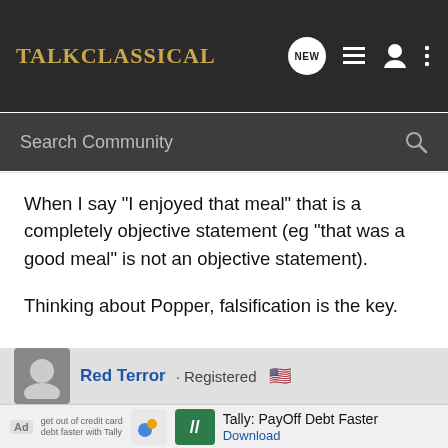Talk Classical
Search Community
When I say "I enjoyed that meal" that is a completely objective statement (eg "that was a good meal" is not an objective statement).

Thinking about Popper, falsification is the key.
"The special mark of the modern world is not that it is sceptical, but that it is dogmatic without knowing it"
Red Terror · Registered
Ad  Tally: PayOff Debt Faster  Download